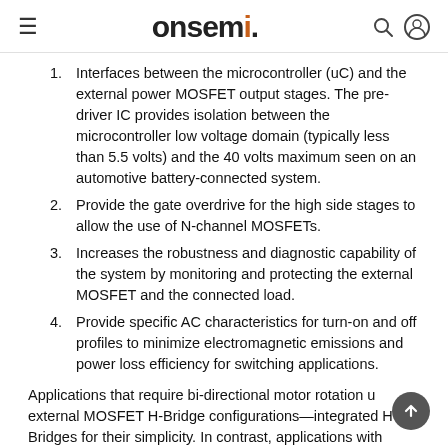onsemi
Interfaces between the microcontroller (uC) and the external power MOSFET output stages. The pre-driver IC provides isolation between the microcontroller low voltage domain (typically less than 5.5 volts) and the 40 volts maximum seen on an automotive battery-connected system.
Provide the gate overdrive for the high side stages to allow the use of N-channel MOSFETs.
Increases the robustness and diagnostic capability of the system by monitoring and protecting the external MOSFET and the connected load.
Provide specific AC characteristics for turn-on and off profiles to minimize electromagnetic emissions and power loss efficiency for switching applications.
Applications that require bi-directional motor rotation use external MOSFET H-Bridge configurations—integrated H-Bridges for their simplicity. In contrast, applications with